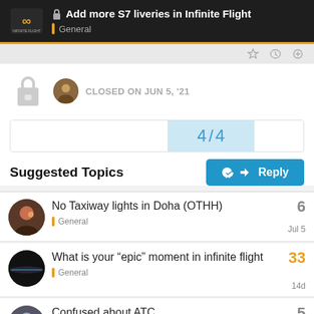Add more S7 liveries in Infinite Flight — General
CLOSED ON JUN 5, '21
4 / 4
Reply
Suggested Topics
No Taxiway lights in Doha (OTHH) | General | 6 | Jul 5
What is your “epic” moment in infinite flight | General | 33 | 14d
Confused about ATC | General | 5 | Jun 20